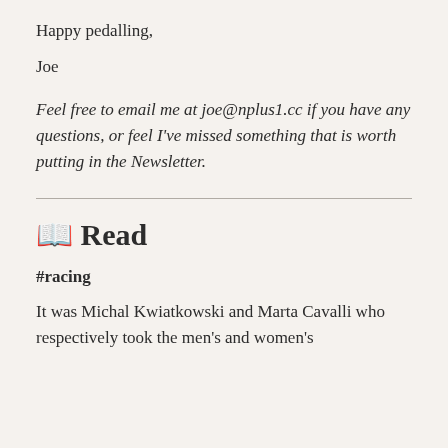Happy pedalling,
Joe
Feel free to email me at joe@nplus1.cc if you have any questions, or feel I've missed something that is worth putting in the Newsletter.
📖 Read
#racing
It was Michal Kwiatkowski and Marta Cavalli who respectively took the men's and women's